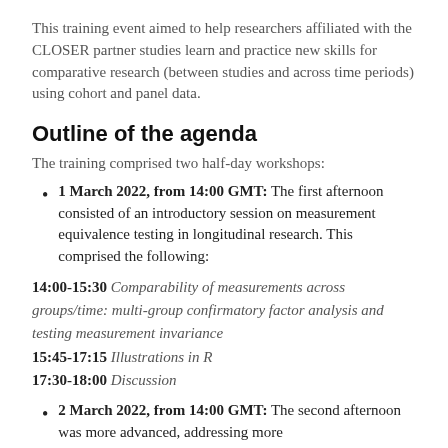This training event aimed to help researchers affiliated with the CLOSER partner studies learn and practice new skills for comparative research (between studies and across time periods) using cohort and panel data.
Outline of the agenda
The training comprised two half-day workshops:
1 March 2022, from 14:00 GMT: The first afternoon consisted of an introductory session on measurement equivalence testing in longitudinal research. This comprised the following:
14:00-15:30 Comparability of measurements across groups/time: multi-group confirmatory factor analysis and testing measurement invariance
15:45-17:15 Illustrations in R
17:30-18:00 Discussion
2 March 2022, from 14:00 GMT: The second afternoon was more advanced, addressing more